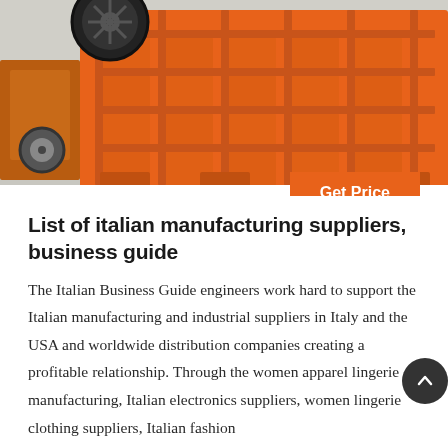[Figure (photo): Orange industrial jaw crusher / heavy machinery photographed in a factory/warehouse setting. The machine is large, orange-painted cast iron with a grid-like frame structure. A black flywheel is visible at the top left.]
Get Price
List of italian manufacturing suppliers, business guide
The Italian Business Guide engineers work hard to support the Italian manufacturing and industrial suppliers in Italy and the USA and worldwide distribution companies creating a profitable relationship. Through the women apparel lingerie manufacturing, Italian electronics suppliers, women lingerie clothing suppliers, Italian fashion